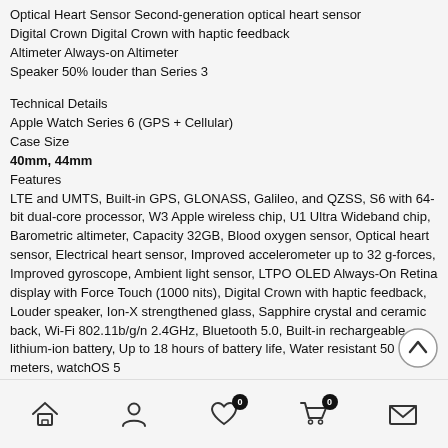Optical Heart Sensor Second-generation optical heart sensor
Digital Crown Digital Crown with haptic feedback
Altimeter Always-on Altimeter
Speaker 50% louder than Series 3
Technical Details
Apple Watch Series 6 (GPS + Cellular)
Case Size
40mm, 44mm
Features
LTE and UMTS, Built-in GPS, GLONASS, Galileo, and QZSS, S6 with 64-bit dual-core processor, W3 Apple wireless chip, U1 Ultra Wideband chip, Barometric altimeter, Capacity 32GB, Blood oxygen sensor, Optical heart sensor, Electrical heart sensor, Improved accelerometer up to 32 g-forces, Improved gyroscope, Ambient light sensor, LTPO OLED Always-On Retina display with Force Touch (1000 nits), Digital Crown with haptic feedback, Louder speaker, Ion-X strengthened glass, Sapphire crystal and ceramic back, Wi-Fi 802.11b/g/n 2.4GHz, Bluetooth 5.0, Built-in rechargeable lithium-ion battery, Up to 18 hours of battery life, Water resistant 50 meters, watchOS 5
Whats in the box
Case, Band, 1m Magnetic Charging Cable
Connectivity
LTE and UMTS,Wi-Fi 802.11b/g/n 2.4GHz, Bluetooth 5.0
Power
Home | Account | Wishlist (0) | Cart (0) | Contact